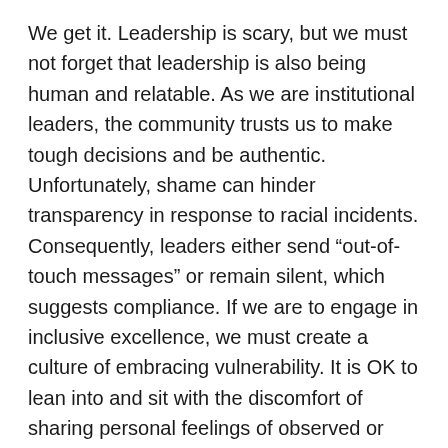We get it. Leadership is scary, but we must not forget that leadership is also being human and relatable. As we are institutional leaders, the community trusts us to make tough decisions and be authentic. Unfortunately, shame can hinder transparency in response to racial incidents. Consequently, leaders either send “out-of-touch messages” or remain silent, which suggests compliance. If we are to engage in inclusive excellence, we must create a culture of embracing vulnerability. It is OK to lean into and sit with the discomfort of sharing personal feelings of observed or lived experiences as well as the uncertainty of not knowing. Such sharing does not compromise one’s ability to lead. Instead, it empowers the opportunity for community input and collaboration. This is how we show up for each other